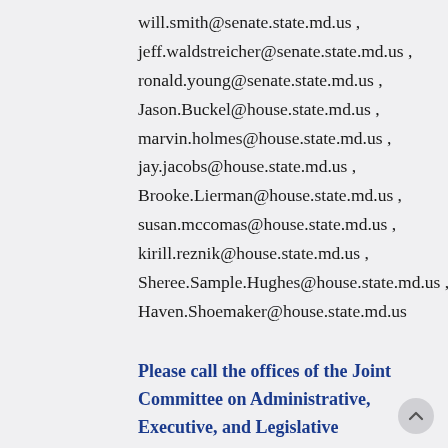will.smith@senate.state.md.us ,
jeff.waldstreicher@senate.state.md.us ,
ronald.young@senate.state.md.us ,
Jason.Buckel@house.state.md.us ,
marvin.holmes@house.state.md.us ,
jay.jacobs@house.state.md.us ,
Brooke.Lierman@house.state.md.us ,
susan.mccomas@house.state.md.us ,
kirill.reznik@house.state.md.us ,
Sheree.Sample.Hughes@house.state.md.us ,
Haven.Shoemaker@house.state.md.us
Please call the offices of the Joint Committee on Administrative, Executive, and Legislative Review members: